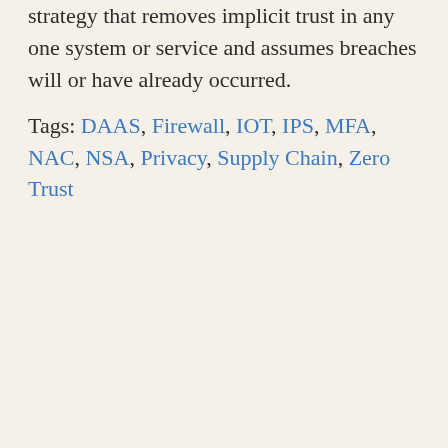strategy that removes implicit trust in any one system or service and assumes breaches will or have already occurred.
Tags: DAAS, Firewall, IOT, IPS, MFA, NAC, NSA, Privacy, Supply Chain, Zero Trust
The top 3 endpoint threats used in 2020 cyberattacks
Cybersecurity Articles, Cybersecurity